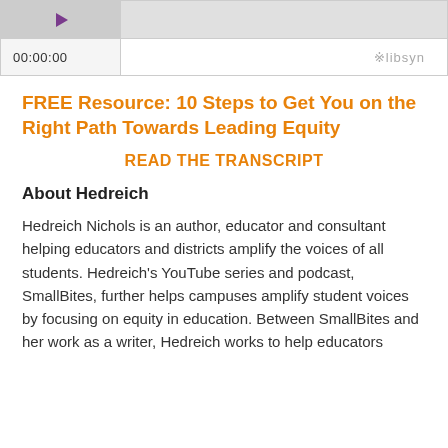[Figure (screenshot): Audio player widget showing thumbnail with play button icon on the left and a progress/waveform bar on the right]
[Figure (screenshot): Audio player controls bar showing timecode 00:00:00 on the left and Libsyn logo on the right]
FREE Resource: 10 Steps to Get You on the Right Path Towards Leading Equity
READ THE TRANSCRIPT
About Hedreich
Hedreich Nichols is an author, educator and consultant helping educators and districts amplify the voices of all students. Hedreich’s YouTube series and podcast, SmallBites, further helps campuses amplify student voices by focusing on equity in education. Between SmallBites and her work as a writer, Hedreich works to help educators